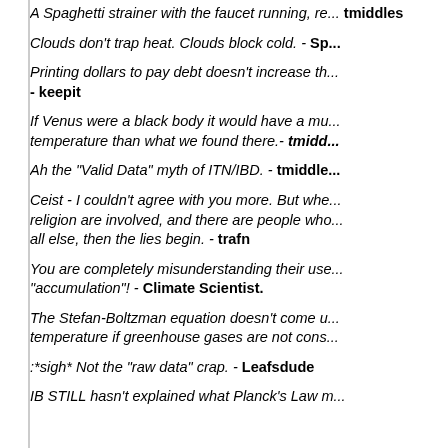A Spaghetti strainer with the faucet running, re... - tmiddles
Clouds don't trap heat. Clouds block cold. - Sp...
Printing dollars to pay debt doesn't increase th... - keepit
If Venus were a black body it would have a mu... temperature than what we found there.- tmidd...
Ah the "Valid Data" myth of ITN/IBD. - tmiddle...
Ceist - I couldn't agree with you more. But whe... religion are involved, and there are people who... all else, then the lies begin. - trafn
You are completely misunderstanding their use... "accumulation"! - Climate Scientist.
The Stefan-Boltzman equation doesn't come u... temperature if greenhouse gases are not cons...
:*sigh* Not the "raw data" crap. - Leafsdude
IB STILL hasn't explained what Planck's Law m... b... ...ing that it applies to everythin...